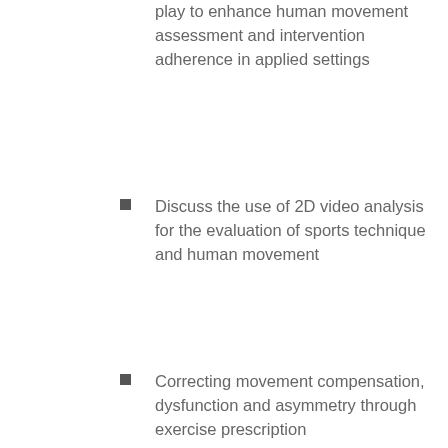play to enhance human movement assessment and intervention adherence in applied settings
Discuss the use of 2D video analysis for the evaluation of sports technique and human movement
Correcting movement compensation, dysfunction and asymmetry through exercise prescription